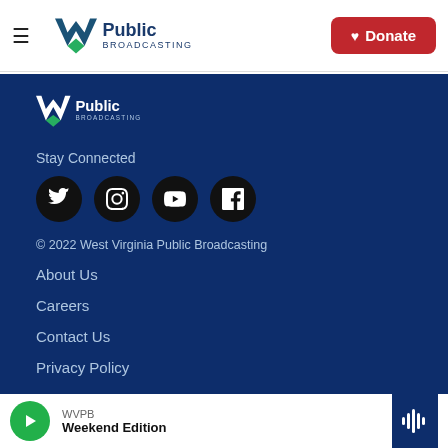WV Public Broadcasting — Donate
[Figure (logo): WV Public Broadcasting logo (footer, white version)]
Stay Connected
[Figure (infographic): Social media icons: Twitter, Instagram, YouTube, Facebook]
© 2022 West Virginia Public Broadcasting
About Us
Careers
Contact Us
Privacy Policy
WVPB — Weekend Edition